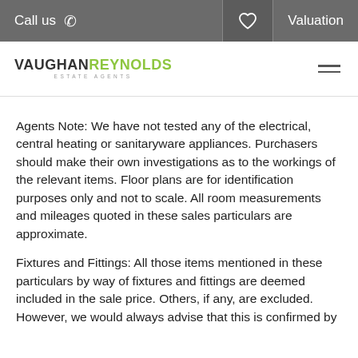Call us   Valuation
[Figure (logo): Vaughan Reynolds Estate Agents logo with green and dark text]
Agents Note: We have not tested any of the electrical, central heating or sanitaryware appliances. Purchasers should make their own investigations as to the workings of the relevant items. Floor plans are for identification purposes only and not to scale. All room measurements and mileages quoted in these sales particulars are approximate.
Fixtures and Fittings: All those items mentioned in these particulars by way of fixtures and fittings are deemed included in the sale price. Others, if any, are excluded. However, we would always advise that this is confirmed by